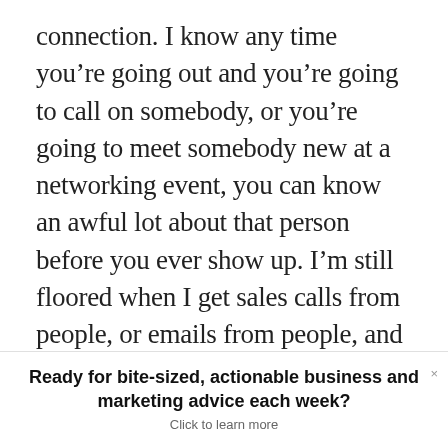connection. I know any time you're going out and you're going to call on somebody, or you're going to meet somebody new at a networking event, you can know an awful lot about that person before you ever show up. I'm still floored when I get sales calls from people, or emails from people, and they basically start by saying they want to learn about my business. I'm like, if you don't know everything about my business, you haven't spent five minutes online.
Ready for bite-sized, actionable business and marketing advice each week? Click to learn more